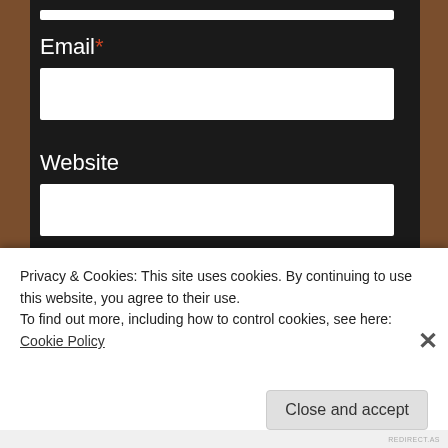Email*
Website
Post Comment
Privacy & Cookies: This site uses cookies. By continuing to use this website, you agree to their use.
To find out more, including how to control cookies, see here: Cookie Policy
Close and accept